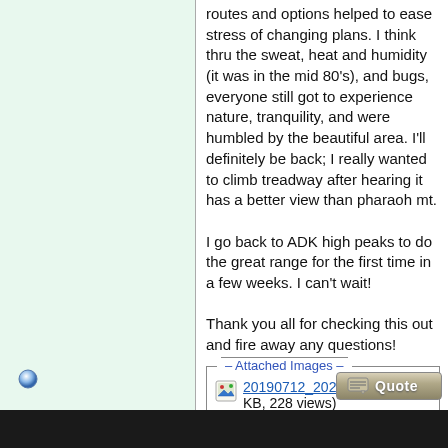routes and options helped to ease stress of changing plans. I think thru the sweat, heat and humidity (it was in the mid 80's), and bugs, everyone still got to experience nature, tranquility, and were humbled by the beautiful area. I'll definitely be back; I really wanted to climb treadway after hearing it has a better view than pharaoh mt.

I go back to ADK high peaks to do the great range for the first time in a few weeks. I can't wait!

Thank you all for checking this out and fire away any questions!
[Figure (other): Attached Images box with three image file links: 20190712_202851.jpg (138.9 KB, 228 views), 20190713_151150.jpg (136.5 KB, 230 views), 20190714_064347.jpg (141.4 KB, 227 views)]
[Figure (other): Quote button in lower right corner]